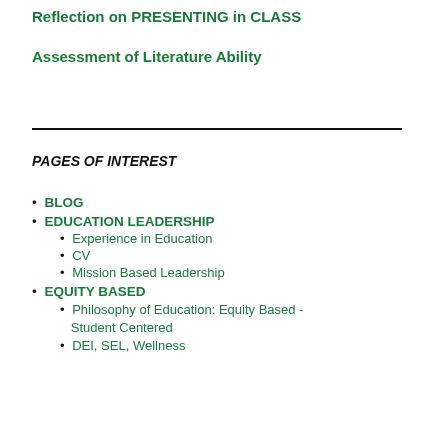Reflection on PRESENTING in CLASS
Assessment of Literature Ability
PAGES OF INTEREST
BLOG
EDUCATION LEADERSHIP
Experience in Education
CV
Mission Based Leadership
EQUITY BASED
Philosophy of Education: Equity Based - Student Centered
DEI, SEL, Wellness